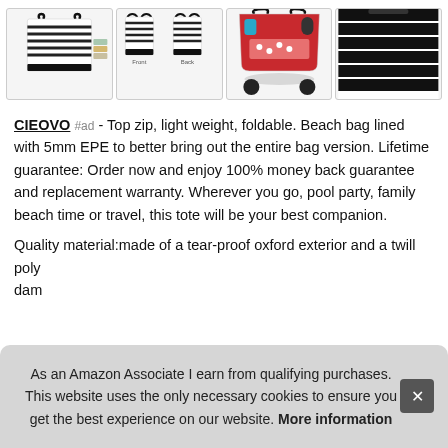[Figure (photo): Four product photos of a black and white striped beach bag tote shown from different angles: with folded towels, front and back flat view with labels, open interior view showing compartments, and close-up of fabric texture.]
CIEOVO #ad - Top zip, light weight, foldable. Beach bag lined with 5mm EPE to better bring out the entire bag version. Lifetime guarantee: Order now and enjoy 100% money back guarantee and replacement warranty. Wherever you go, pool party, family beach time or travel, this tote will be your best companion.
Quality material:made of a tear-proof oxford exterior and a twill poly dam
As an Amazon Associate I earn from qualifying purchases. This website uses the only necessary cookies to ensure you get the best experience on our website. More information